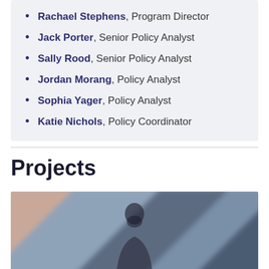Rachael Stephens, Program Director
Jack Porter, Senior Policy Analyst
Sally Rood, Senior Policy Analyst
Jordan Morang, Policy Analyst
Sophia Yager, Policy Analyst
Katie Nichols, Policy Coordinator
Projects
[Figure (photo): Blurred photo of a person, dark silhouette against a blue-grey blurred background, appears to be indoors.]